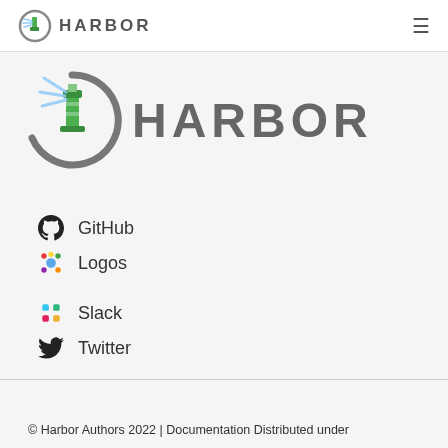HARBOR
[Figure (logo): Harbor logo — circular lighthouse icon with green lighthouse, gray arc, and blue beams, with large HARBOR text to the right]
GitHub
Logos
Slack
Twitter
© Harbor Authors 2022 | Documentation Distributed under